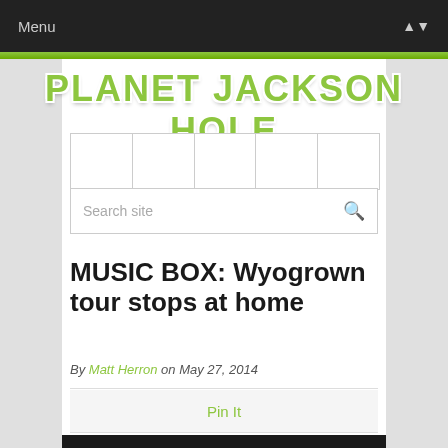Menu
[Figure (logo): Planet Jackson Hole website logo in green blocky retro font]
[Figure (screenshot): Navigation menu bar with 5 columns and a search bar below it reading 'Search site']
MUSIC BOX: Wyogrown tour stops at home
By Matt Herron on May 27, 2014
Pin It
[Figure (photo): Black and white photo of people, partially visible at bottom of page]